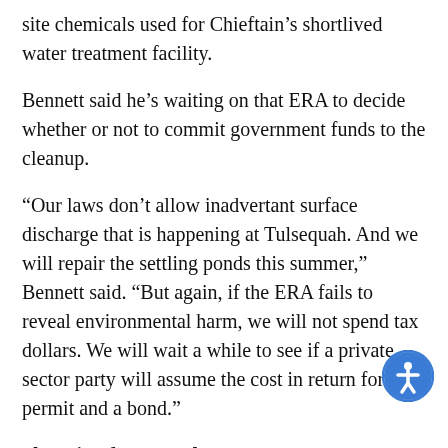site chemicals used for Chieftain's shortlived water treatment facility.
Bennett said he's waiting on that ERA to decide whether or not to commit government funds to the cleanup.
“Our laws don’t allow inadvertant surface discharge that is happening at Tulsequah. And we will repair the settling ponds this summer,” Bennett said. “But again, if the ERA fails to reveal environmental harm, we will not spend tax dollars. We will wait a while to see if a private sector party will assume the cost in return for a permit and a bond.”
Shopping for a new buyer
The TCM has changed hands several times. The two companies to own the mine — Redfern